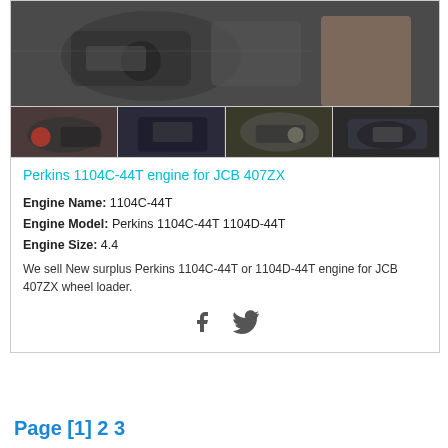[Figure (photo): Main photo of Perkins 1104C-44T engine for JCB 407ZX, aerial view showing engine components]
[Figure (photo): Four thumbnail photos of the Perkins 1104C-44T engine from various angles]
Perkins 1104C-44T engine for JCB 407ZX
Engine Name: 1104C-44T
Engine Model: Perkins 1104C-44T 1104D-44T
Engine Size: 4.4
We sell New surplus Perkins 1104C-44T or 1104D-44T engine for JCB 407ZX wheel loader.
Page [1] 2 3